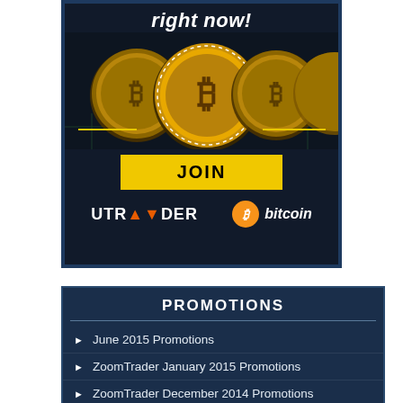[Figure (illustration): UTRader and Bitcoin advertisement banner showing gold bitcoin coins, a yellow JOIN button, UTRader logo and Bitcoin logo on a dark background with text 'right now!' at the top]
PROMOTIONS
June 2015 Promotions
ZoomTrader January 2015 Promotions
ZoomTrader December 2014 Promotions
ZoomTrader November 2014 Promotions
ZoomTrader October 2014 Promotions